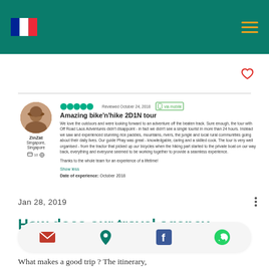[Figure (screenshot): Navigation bar with French flag icon and hamburger menu on teal/dark green background]
[Figure (illustration): Heart/favorite icon in red outline]
Reviewed October 24, 2018 via mobile
Amazing bike'n'hike 2D1N tour
We love the outdoors and were looking forward to an adventure off the beaten track. Sure enough, the tour with Off Road Laos Adventures didn't disappoint - in fact we didn't see a single tourist in more than 24 hours. Instead we saw and experienced stunning rice paddies, mountains, rivers, the jungle and local rural communities going about their daily lives. Our guide Phay was great - knowledgable, caring and a skilled cook. The tour is very well organised - from the tractor that picked up our bicycles when the hiking part started to the private boat on our way back, everything and everyone seemed to be working together to provide a seamless experience.

Thanks to the whole team for an experience of a lifetime!
Show less
Date of experience: October 2018
Jan 28, 2019
How does our travel agency
What makes a good trip ? The itinerary,